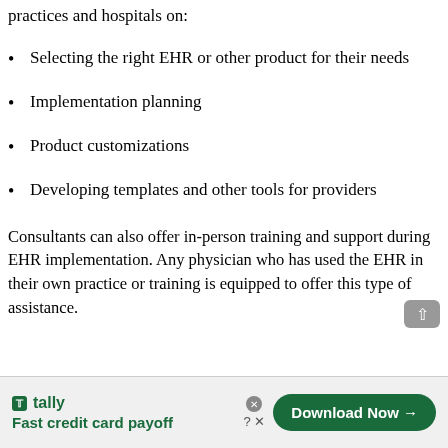practices and hospitals on:
Selecting the right EHR or other product for their needs
Implementation planning
Product customizations
Developing templates and other tools for providers
Consultants can also offer in-person training and support during EHR implementation. Any physician who has used the EHR in their own practice or training is equipped to offer this type of assistance.
[Figure (infographic): Tally advertisement banner: 'Fast credit card payoff' with a green Download Now button]